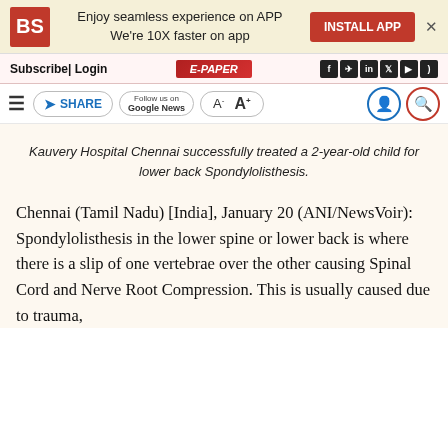[Figure (screenshot): Business Standard website header banner with BS logo, 'Enjoy seamless experience on APP / We're 10X faster on app' text, INSTALL APP button, and close X]
Subscribe| Login   E-PAPER   [social icons: f, telegram, in, twitter, youtube, rss]
≡  ➤ SHARE   Follow us on Google News   A⁻  A⁺   [user icon] [search icon]
Kauvery Hospital Chennai successfully treated a 2-year-old child for lower back Spondylolisthesis.
Chennai (Tamil Nadu) [India], January 20 (ANI/NewsVoir): Spondylolisthesis in the lower spine or lower back is where there is a slip of one vertebrae over the other causing Spinal Cord and Nerve Root Compression. This is usually caused due to trauma,